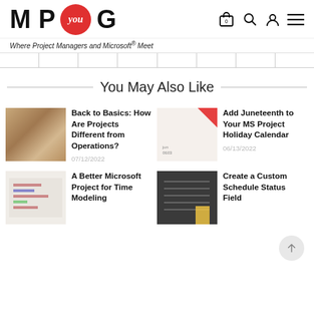M P you G — Where Project Managers and Microsoft® Meet
You May Also Like
[Figure (photo): Photo of people working together on a project]
Back to Basics: How Are Projects Different from Operations?
07/12/2022
[Figure (photo): Calendar with Juneteenth date marked, red triangle corner fold]
Add Juneteenth to Your MS Project Holiday Calendar
06/13/2022
[Figure (screenshot): Screenshot of Microsoft Project for Time Modeling]
A Better Microsoft Project for Time Modeling
[Figure (photo): Photo of person writing on a blackboard with schedule]
Create a Custom Schedule Status Field